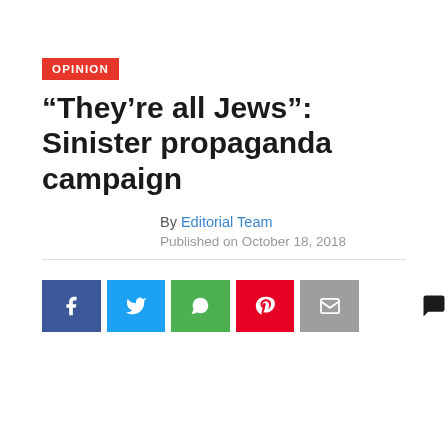OPINION
“They’re all Jews”: Sinister propaganda campaign
By Editorial Team
Published on October 18, 2018
[Figure (infographic): Social share buttons: Facebook, Twitter, WhatsApp, Pinterest, Email, and a comment icon]
Dexter Ven Zile